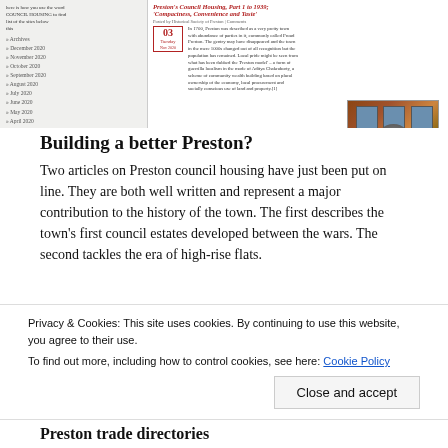[Figure (screenshot): Screenshot of a website showing a sidebar with archive links on the left and an article preview on the right. The article is titled 'Preston's Council Housing, Part 1 to 1939: Compactness, Convenience and Taste' with a date marker '03 Tuesday' and a photo of red-brick council housing with a statue in the foreground.]
Building a better Preston?
Two articles on Preston council housing have just been put on line. They are both well written and represent a major contribution to the history of the town. The first describes the town's first council estates developed between the wars. The second tackles the era of high-rise flats.
Privacy & Cookies: This site uses cookies. By continuing to use this website, you agree to their use.
To find out more, including how to control cookies, see here: Cookie Policy
Close and accept
Preston trade directories